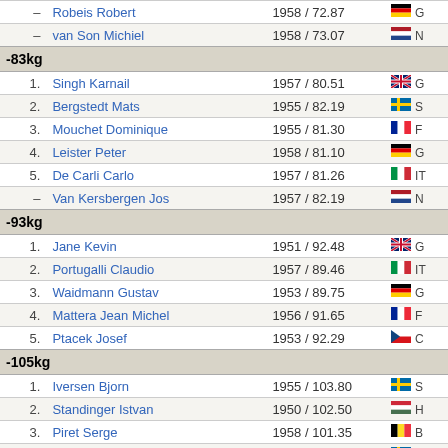| Rank | Name | Year / Weight | Country |
| --- | --- | --- | --- |
| – | Robeis Robert | 1958 / 72.87 | G (DE) |
| – | van Son Michiel | 1958 / 73.07 | N (NL) |
| -83kg |  |  |  |
| 1. | Singh Karnail | 1957 / 80.51 | G (GB) |
| 2. | Bergstedt Mats | 1955 / 82.19 | S (SE) |
| 3. | Mouchet Dominique | 1955 / 81.30 | F (FR) |
| 4. | Leister Peter | 1958 / 81.10 | G (DE) |
| 5. | De Carli Carlo | 1957 / 81.26 | IT (IT) |
| – | Van Kersbergen Jos | 1957 / 82.19 | N (NL) |
| -93kg |  |  |  |
| 1. | Jane Kevin | 1951 / 92.48 | G (GB) |
| 2. | Portugalli Claudio | 1957 / 89.46 | IT (IT) |
| 3. | Waidmann Gustav | 1953 / 89.75 | G (DE) |
| 4. | Mattera Jean Michel | 1956 / 91.65 | F (FR) |
| 5. | Ptacek Josef | 1953 / 92.29 | C (CZ) |
| -105kg |  |  |  |
| 1. | Iversen Bjorn | 1955 / 103.80 | S (SE) |
| 2. | Standinger Istvan | 1950 / 102.50 | H (HU) |
| 3. | Piret Serge | 1958 / 101.35 | B (BE) |
| – | Hopp Rudiger | 1955 / 102.26 | S (SE) |
| -120kg |  |  |  |
| 1. | Ringvold Vidar Alexander | 1955 / 110.01 | N (NO) |